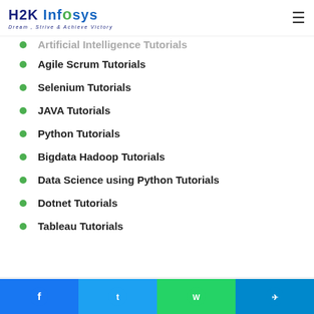H2K Infosys — Dream, Strive & Achieve Victory
Artificial Intelligence Tutorials
Agile Scrum Tutorials
Selenium Tutorials
JAVA Tutorials
Python Tutorials
Bigdata Hadoop Tutorials
Data Science using Python Tutorials
Dotnet Tutorials
Tableau Tutorials
[Figure (infographic): Website footer section with H2K Infosys branding elements including orange geometric shape, caret icon, dot pattern, and scroll-to-top button]
Facebook, Twitter, WhatsApp, Telegram social share buttons